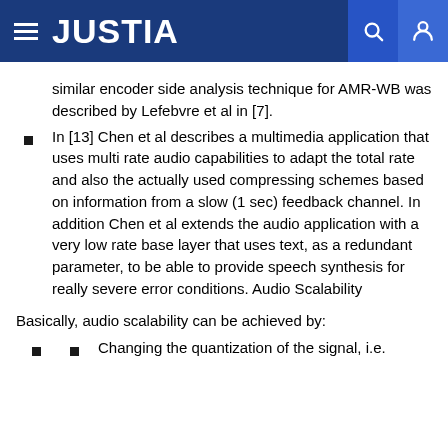JUSTIA
similar encoder side analysis technique for AMR-WB was described by Lefebvre et al in [7].
In [13] Chen et al describes a multimedia application that uses multi rate audio capabilities to adapt the total rate and also the actually used compressing schemes based on information from a slow (1 sec) feedback channel. In addition Chen et al extends the audio application with a very low rate base layer that uses text, as a redundant parameter, to be able to provide speech synthesis for really severe error conditions. Audio Scalability
Basically, audio scalability can be achieved by:
Changing the quantization of the signal, i.e.